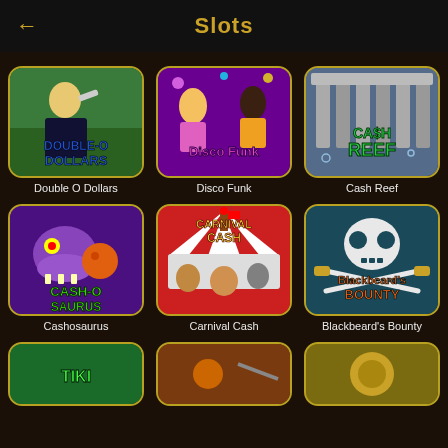Slots
[Figure (screenshot): Slots game grid showing 6 slot machine game thumbnails and partial third row. Games: Double O Dollars, Disco Funk, Cash Reef, Cashosaurus, Carnival Cash, Blackbeard's Bounty, and three partially visible games at bottom.]
Double O Dollars
Disco Funk
Cash Reef
Cashosaurus
Carnival Cash
Blackbeard's Bounty